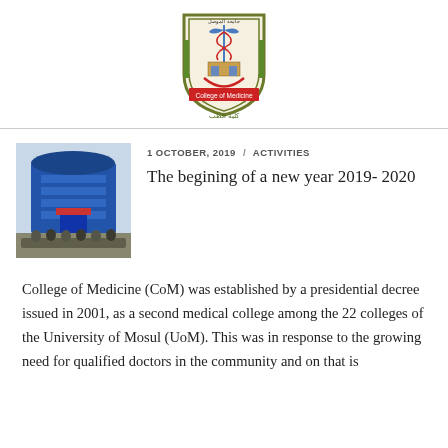[Figure (logo): University of Mosul College of Medicine shield logo with caduceus symbol and Arabic text]
[Figure (photo): Photo of a modern building with blue facade and a group of people in front]
1 OCTOBER, 2019 / ACTIVITIES
The begining of a new year 2019- 2020
College of Medicine (CoM) was established by a presidential decree issued in 2001, as a second medical college among the 22 colleges of the University of Mosul (UoM). This was in response to the growing need for qualified doctors in the community and on that is...